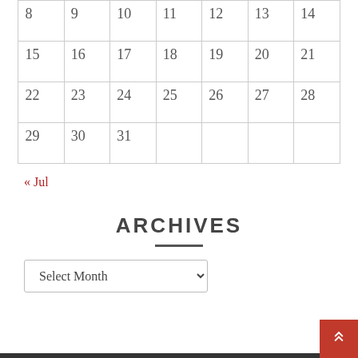| Sun | Mon | Tue | Wed | Thu | Fri | Sat |
| --- | --- | --- | --- | --- | --- | --- |
| 8 | 9 | 10 | 11 | 12 | 13 | 14 |
| 15 | 16 | 17 | 18 | 19 | 20 | 21 |
| 22 | 23 | 24 | 25 | 26 | 27 | 28 |
| 29 | 30 | 31 |  |  |  |  |
« Jul
ARCHIVES
Select Month